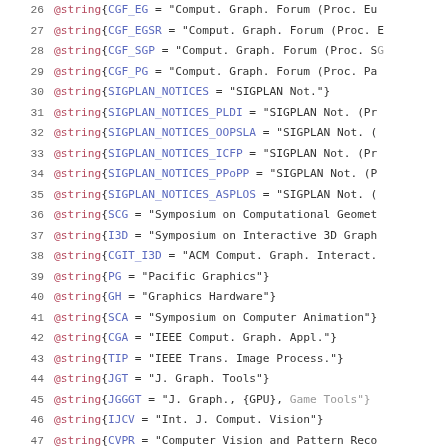Code listing lines 26-48 of BibTeX @string definitions for computer graphics and vision publication venues.